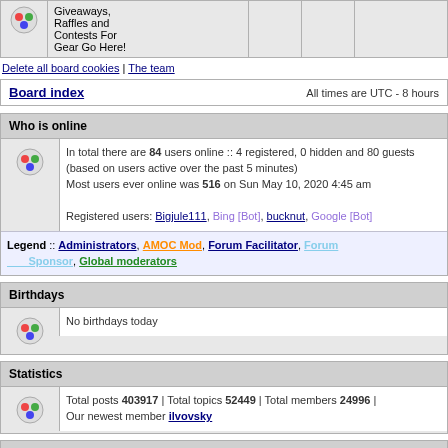|  | Description |  |  |  |
| --- | --- | --- | --- | --- |
|  | Giveaways, Raffles and Contests For Gear Go Here! |  |  |  |
Delete all board cookies | The team
Board index | All times are UTC - 8 hours
Who is online
In total there are 84 users online :: 4 registered, 0 hidden and 80 guests (based on users active over the past 5 minutes)
Most users ever online was 516 on Sun May 10, 2020 4:45 am

Registered users: Bigjule111, Bing [Bot], bucknut, Google [Bot]
Legend :: Administrators, AMOC Mod, Forum Facilitator, Forum Sponsor, Global moderators
Birthdays
No birthdays today
Statistics
Total posts 403917 | Total topics 52449 | Total members 24996 | Our newest member ilvovsky
Login
Username:  Password:  Log me on